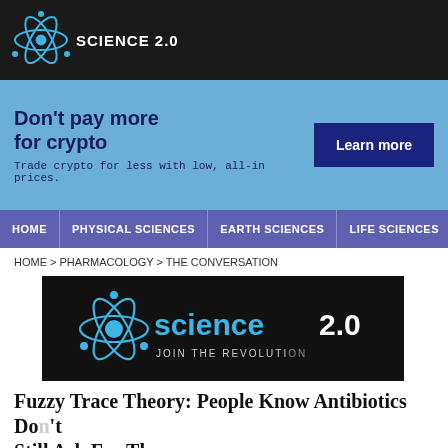SCIENCE 2.0
[Figure (infographic): Advertisement banner: Don't pay more for crypto. Trade crypto for less with low, all-in prices. Learn more button.]
HOME | PHYSICAL SCIENCES | EARTH SCIENCES | LIFE SCIENCES | MEDICINE
HOME > PHARMACOLOGY > THE CONVERSATION
[Figure (logo): Science 2.0 logo on black background with atom graphic and text: science 2.0 JOIN THE REVOLUTION]
Fuzzy Trace Theory: People Know Antibiotics Don't Still Ask For Them
By The Conversation | November 25th 2014 11:30 AM | Print | E-mail